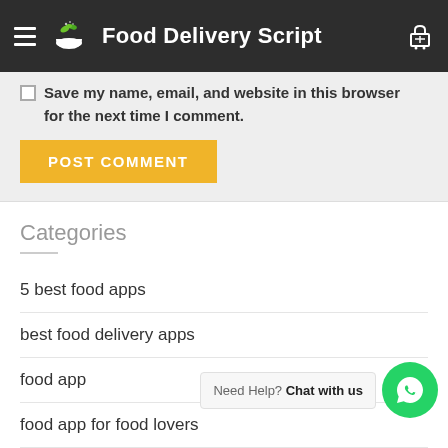Food Delivery Script
Save my name, email, and website in this browser for the next time I comment.
POST COMMENT
Categories
5 best food apps
best food delivery apps
food app
food app for food lovers
Need Help? Chat with us